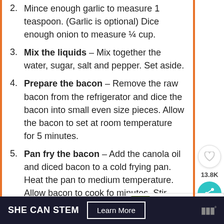Mince enough garlic to measure 1 teaspoon. (Garlic is optional) Dice enough onion to measure ¼ cup.
Mix the liquids – Mix together the water, sugar, salt and pepper. Set aside.
Prepare the bacon – Remove the raw bacon from the refrigerator and dice the bacon into small even size pieces. Allow the bacon to set at room temperature for 5 minutes.
Pan fry the bacon – Add the canola oil and diced bacon to a cold frying pan. Heat the pan to medium temperature. Allow bacon to cook fo... minutes. Stir bacon and cook for an additional 3 minutes. Bacon is done
SHE CAN STEM  Learn More